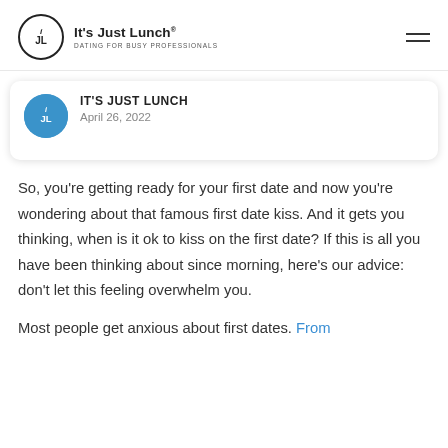It's Just Lunch — DATING FOR BUSY PROFESSIONALS
[Figure (logo): It's Just Lunch logo: circle with iJL monogram, company name and tagline 'Dating for Busy Professionals']
IT'S JUST LUNCH
April 26, 2022
So, you're getting ready for your first date and now you're wondering about that famous first date kiss. And it gets you thinking, when is it ok to kiss on the first date? If this is all you have been thinking about since morning, here's our advice: don't let this feeling overwhelm you.
Most people get anxious about first dates. From